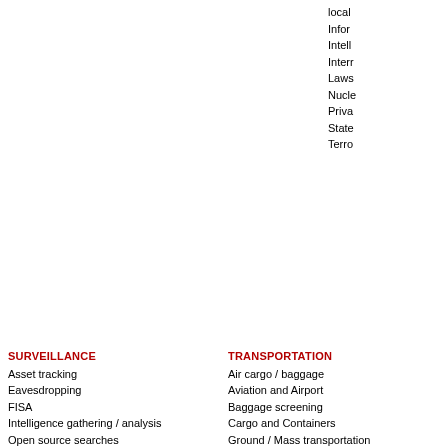local
Inform
Intell
Interr
Laws
Nucle
Priva
State
Terro
SURVEILLANCE
Asset tracking
Eavesdropping
FISA
Intelligence gathering / analysis
Open source searches
TRANSPORTATION
Air cargo / baggage
Aviation and Airport
Baggage screening
Cargo and Containers
Ground / Mass transportation